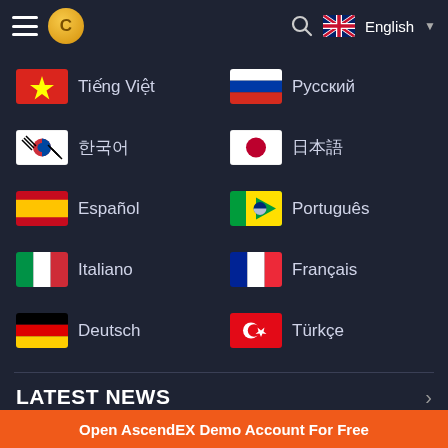AscendEX app header with hamburger menu, coin logo, search icon, UK flag, English language selector
Tiếng Việt
Русский
한국어
日本語
Español
Português
Italiano
Français
Deutsch
Türkçe
LATEST NEWS
How to Sign Up and Deposit at AscendEX
Open AscendEX Demo Account For Free